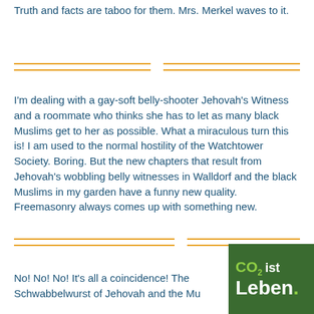Truth and facts are taboo for them. Mrs. Merkel waves to it.
I'm dealing with a gay-soft belly-shooter Jehovah's Witness and a roommate who thinks she has to let as many black Muslims get to her as possible. What a miraculous turn this is! I am used to the normal hostility of the Watchtower Society. Boring. But the new chapters that result from Jehovah's wobbling belly witnesses in Walldorf and the black Muslims in my garden have a funny new quality. Freemasonry always comes up with something new.
No! No! No! It's all a coincidence! The Schwabbelwurst of Jehovah and the Muslims in
[Figure (logo): CO2 ist Leben. badge/logo with green and white text on dark green background]